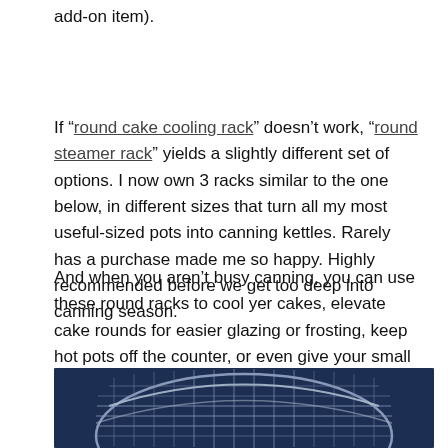add-on item).
If “round cake cooling rack” doesn’t work, “round steamer rack” yields a slightly different set of options. I now own 3 racks similar to the one below, in different sizes that turn all my most useful-sized pots into canning kettles. Rarely has a purchase made me so happy. Highly recommended before we get too deep into canning season.
And when you aren’t busy canning, you can use these round racks to cool yer cakes, elevate cake rounds for easier glazing or frosting, keep hot pots off the counter, or even give your small indoor potted plants a lift. I just love a kitchen multi-tasker.
[Figure (photo): A round wire cooling/steamer rack photographed on a dark blue background, showing a grid pattern of metal wires with a circular outer rim.]